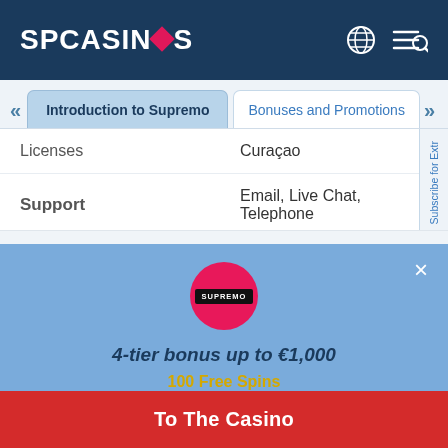[Figure (screenshot): SP Casinos website header with logo and navigation icons]
Introduction to Supremo
Bonuses and Promotions
| Licenses | Curaçao |
| Support | Email, Live Chat, Telephone |
Subscribe for Extr
[Figure (logo): Supremo casino logo - pink circle with dark label]
4-tier bonus up to €1,000
100 Free Spins
To The Casino